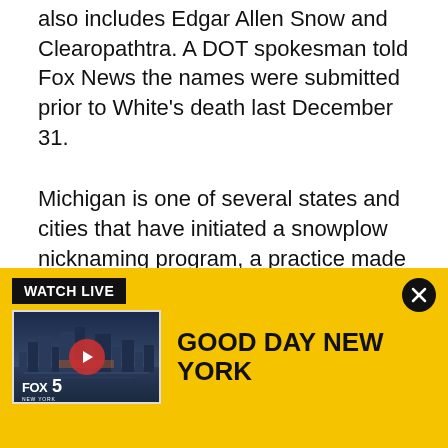also includes Edgar Allen Snow and Clearopathtra. A DOT spokesman told Fox News the names were submitted prior to White's death last December 31.
Michigan is one of several states and cities that have initiated a snowplow nicknaming program, a practice made famous in Scotland where they're called "gritters" and Grittalica and Spready Mercury are among the trucks keep the roads clear.
Read more on FOX News.
[Figure (screenshot): FOX5 'WATCH LIVE' advertisement banner with yellow background showing 'GOOD DAY NEW YORK' and a video thumbnail of the NYC skyline with FOX 5 New York logo and a red play button.]